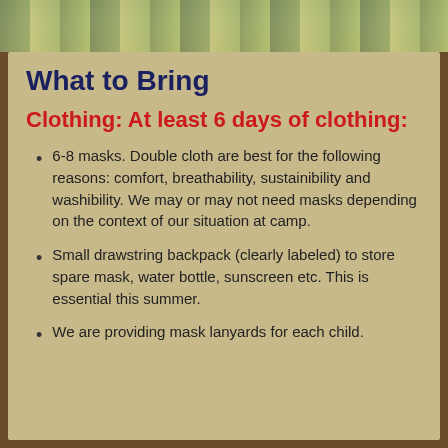[Figure (photo): Outdoor photo strip showing nature/camp scene at the top of the page]
What to Bring
Clothing: At least 6 days of clothing:
6-8 masks. Double cloth are best for the following reasons: comfort, breathability, sustainibility and washibility. We may or may not need masks depending on the context of our situation at camp.
Small drawstring backpack (clearly labeled) to store spare mask, water bottle, sunscreen etc. This is essential this summer.
We are providing mask lanyards for each child.